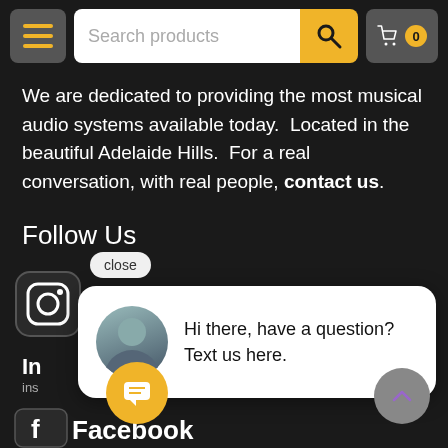Search products | cart 0
We are dedicated to providing the most musical audio systems available today.  Located in the beautiful Adelaide Hills.  For a real conversation, with real people, contact us.
Follow Us
[Figure (screenshot): Instagram icon (rounded square with camera icon)]
In
ins
[Figure (screenshot): Chat popup overlay with avatar photo of a man and text: Hi there, have a question? Text us here. With a close button.]
[Figure (screenshot): Facebook icon (rounded square with f logo)]
Facebook
[Figure (screenshot): Yellow circular chat button with message icon]
[Figure (screenshot): Grey circular back-to-top button with up chevron]